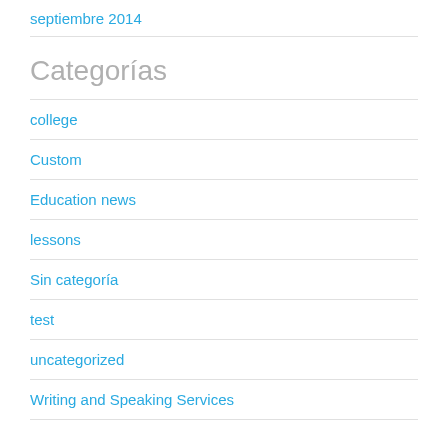septiembre 2014
Categorías
college
Custom
Education news
lessons
Sin categoría
test
uncategorized
Writing and Speaking Services